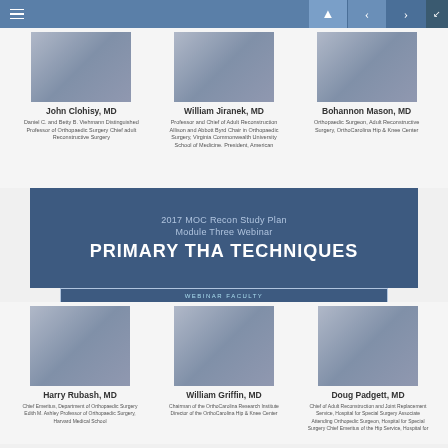[Figure (screenshot): Navigation bar with hamburger menu, up/prev/next buttons]
John Clohisy, MD
Daniel C. and Betty B. Viehmann Distinguished Professor of Orthopaedic Surgery Chief adult Reconstructive Surgery
William Jiranek, MD
Professor and Chief of Adult Reconstruction Allison and Abbott Byrd Chair in Orthopaedic Surgery, Virginia Commonwealth University School of Medicine. President, American
Bohannon Mason, MD
Orthopaedic Surgeon, Adult Reconstructive Surgery, OrthoCarolina Hip & Knee Center
2017 MOC Recon Study Plan Module Three Webinar PRIMARY THA TECHNIQUES
WEBINAR FACULTY
Harry Rubash, MD
Chief Emeritus, Department of Orthopaedic Surgery Edith M. Ashley Professor of Orthopaedic Surgery, Harvard Medical School
William Griffin, MD
Chairman of the OrthoCarolina Research Institute Director of the OrthoCarolina Hip & Knee Center
Doug Padgett, MD
Chief of Adult Reconstruction and Joint Replacement Service, Hospital for Special Surgery Associate Attending Orthopedic Surgeon, Hospital for Special Surgery Chief Emeritus of the Hip Service, Hospital for